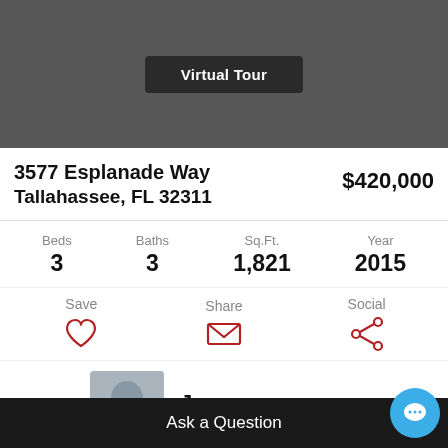[Figure (photo): Dark gray hero image area with a Virtual Tour button overlay]
3577 Esplanade Way
Tallahassee, FL 32311
$420,000
| Beds | Baths | Sq.Ft. | Year |
| --- | --- | --- | --- |
| 3 | 3 | 1,821 | 2015 |
Save | Share | Social
Joe
(850) 888-0888
Ask a Question